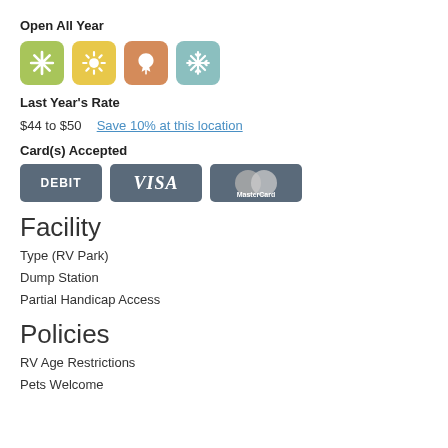Open All Year
[Figure (infographic): Four season icons: spring (green with snowflake/asterisk), summer (yellow with sun), fall (orange with leaf), winter (teal with snowflake)]
Last Year's Rate
$44 to $50   Save 10% at this location
Card(s) Accepted
[Figure (infographic): Three payment card badges: DEBIT, VISA, MasterCard]
Facility
Type (RV Park)
Dump Station
Partial Handicap Access
Policies
RV Age Restrictions
Pets Welcome